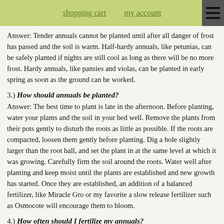shopping cart   my account
Answer: Tender annuals cannot be planted until after all danger of frost has passed and the soil is warm. Half-hardy annuals, like petunias, can be safely planted if nights are still cool as long as there will be no more frost. Hardy annuals, like pansies and violas, can be planted in early spring as soon as the ground can be worked.
3.) How should annuals be planted?
Answer: The best time to plant is late in the afternoon. Before planting, water your plants and the soil in your bed well. Remove the plants from their pots gently to disturb the roots as little as possible. If the roots are compacted, loosen them gently before planting. Dig a hole slightly larger than the root ball, and set the plant in at the same level at which it was growing. Carefully firm the soil around the roots. Water well after planting and keep moist until the plants are established and new growth has started. Once they are established, an addition of a balanced fertilizer, like Miracle Gro or my favorite a slow release fertilizer such as Osmocote will encourage them to bloom.
4.) How often should I fertilize my annuals?
Answer: We recommend that annuals are fertilized with a liquid fertilizer, like Miracle Gro, once every other week. Another option available is the use of a granular, slow or time-released fertilizer like Multi-cote or Osmocote. These types of fertilizers